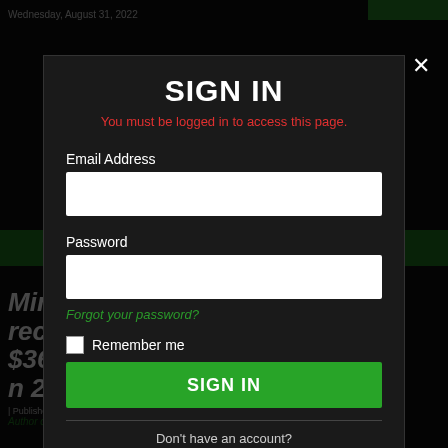Wednesday, August 31, 2022
[Figure (screenshot): Background newspaper website with FORUM logo and article headline 'Minnesota counties receive $36.3... in 2021' partially visible behind a sign-in modal overlay]
SIGN IN
You must be logged in to access this page.
Email Address
Password
Forgot your password?
Remember me
SIGN IN
Don't have an account?